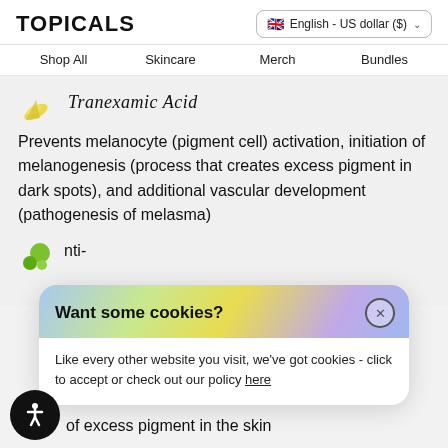TOPICALS
English - US dollar ($)
Shop All  Skincare  Merch  Bundles
Tranexamic Acid
Prevents melanocyte (pigment cell) activation, initiation of melanogenesis (process that creates excess pigment in dark spots), and additional vascular development (pathogenesis of melasma)
Want some cookies?
Like every other website you visit, we've got cookies - click to accept or check out our policy here
of excess pigment in the skin